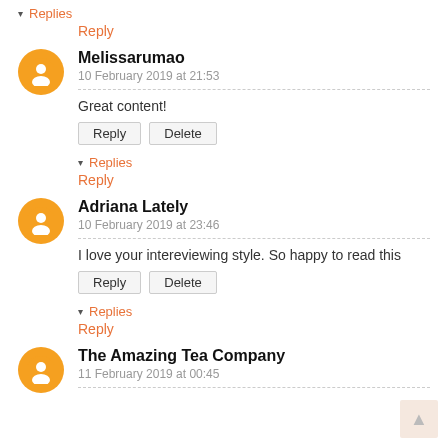▾ Replies
Reply
Melissarumao
10 February 2019 at 21:53
Great content!
Reply  Delete
▾ Replies
Reply
Adriana Lately
10 February 2019 at 23:46
I love your intereviewing style. So happy to read this
Reply  Delete
▾ Replies
Reply
The Amazing Tea Company
11 February 2019 at 00:45